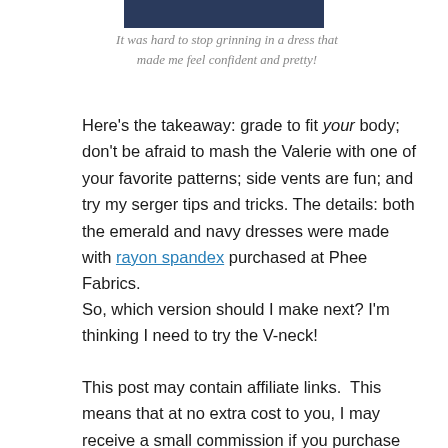[Figure (photo): Partial photo of a person wearing a navy dress, cropped at the top of the page]
It was hard to stop grinning in a dress that made me feel confident and pretty!
Here's the takeaway: grade to fit your body; don't be afraid to mash the Valerie with one of your favorite patterns; side vents are fun; and try my serger tips and tricks. The details: both the emerald and navy dresses were made with rayon spandex purchased at Phee Fabrics.
So, which version should I make next? I'm thinking I need to try the V-neck!
This post may contain affiliate links.  This means that at no extra cost to you, I may receive a small commission if you purchase through my link.  As always, I only give my